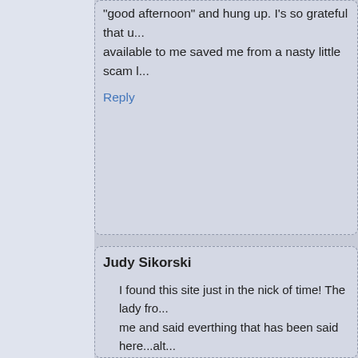"good afternoon" and hung up. I's so grateful that u... available to me saved me from a nasty little scam l...
Reply
Judy Sikorski
I found this site just in the nick of time! The lady fro... me and said everthing that has been said here...alt... done she dropped the price to $99.00....(no plane t... am a hard sell, thank goodness. I told her I would d... husband and get back to her. She couldn't wait so s... and added more pressure. I told her I needed to res... first and actually she gave me this site to go to. (No... smart) Anyway, thank goodness I came here and re... as you all have saved me from doing something qu... those of you that went through with this, don't be to... yourselves...these are high pressure salespeople...